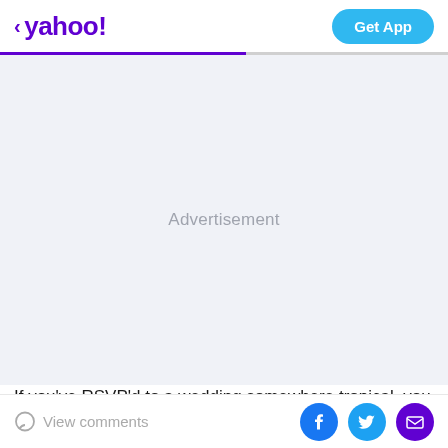< yahoo!  Get App
[Figure (other): Advertisement placeholder area with light gray/blue background and centered text 'Advertisement']
If you've RSVP'd to a wedding somewhere tropical, you
View comments  [Facebook] [Twitter] [Email]